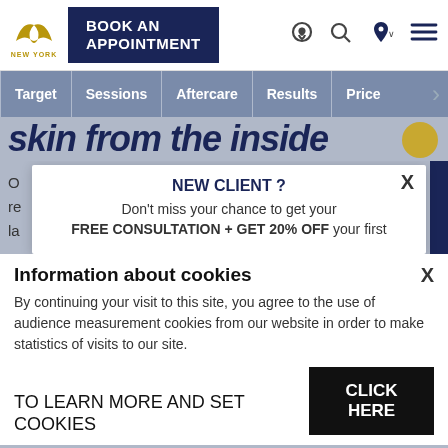NEW YORK [logo] | BOOK AN APPOINTMENT | [phone icon] [search icon] [location icon] [menu icon]
Target | Sessions | Aftercare | Results | Price >
skin from the inside
NEW CLIENT ? Don't miss your chance to get your FREE CONSULTATION + GET 20% OFF your first
Information about cookies
By continuing your visit to this site, you agree to the use of audience measurement cookies from our website in order to make statistics of visits to our site.
TO LEARN MORE AND SET COOKIES
CLICK HERE